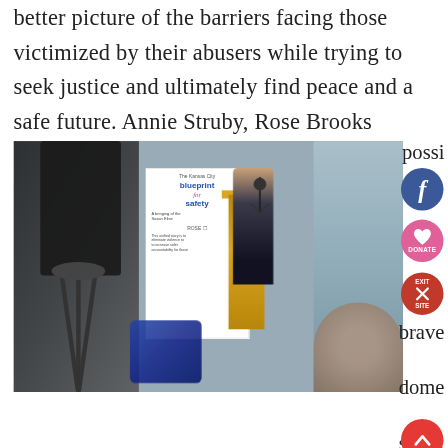better picture of the barriers facing those victimized by their abusers while trying to seek justice and ultimately find peace and a safe future. Annie Struby, Rose Brooks Center's Blueprint Coordinator thanked those who made this Blueprint for Safety possi
[Figure (photo): Woman speaking at a podium outdoors at a press conference. A 'Blueprint for Safety' banner is visible behind her. A camera on a tripod is in the foreground left. An audience member in a brown jacket is visible on the right.]
brave dome stic
e